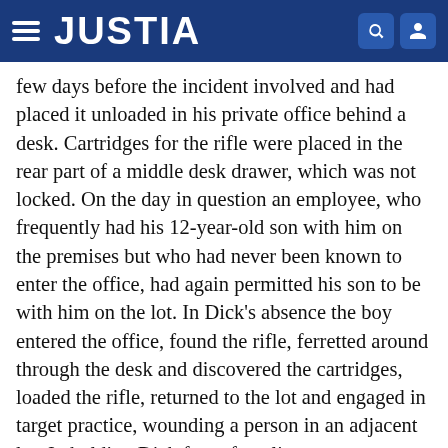JUSTIA
few days before the incident involved and had placed it unloaded in his private office behind a desk. Cartridges for the rifle were placed in the rear part of a middle desk drawer, which was not locked. On the day in question an employee, who frequently had his 12-year-old son with him on the premises but who had never been known to enter the office, had again permitted his son to be with him on the lot. In Dick's absence the boy entered the office, found the rifle, ferretted around through the desk and discovered the cartridges, loaded the rifle, returned to the lot and engaged in target practice, wounding a person in an adjacent lot. In holding Dick free of negligence we carefully noted that foreseeability was the governing standard (emphasis added):
"In determining the proximate cause of an injury growing out of an act of negligence, the rule is the injury